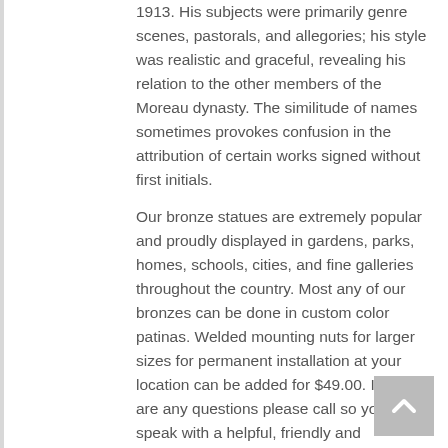1913. His subjects were primarily genre scenes, pastorals, and allegories; his style was realistic and graceful, revealing his relation to the other members of the Moreau dynasty. The similitude of names sometimes provokes confusion in the attribution of certain works signed without first initials.
Our bronze statues are extremely popular and proudly displayed in gardens, parks, homes, schools, cities, and fine galleries throughout the country. Most any of our bronzes can be done in custom color patinas. Welded mounting nuts for larger sizes for permanent installation at your location can be added for $49.00. If there are any questions please call so you can speak with a helpful, friendly and knowledgeable sales staff at Toll Free.1-866-870-5271.